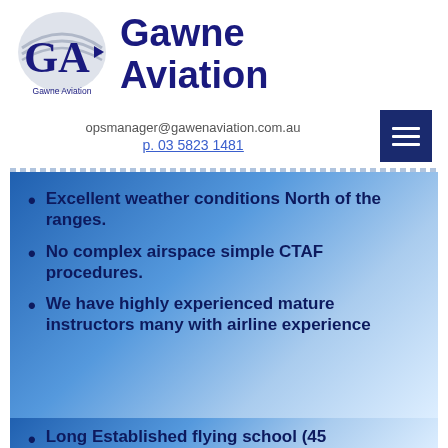[Figure (logo): Gawne Aviation logo with stylized GA letters and swoosh, with 'Gawne Aviation' text below, beside large bold 'Gawne Aviation' company name text]
opsmanager@gawenaviation.com.au
p. 03 5823 1481
Excellent weather conditions North of the ranges.
No complex airspace simple CTAF procedures.
We have highly experienced mature instructors many with airline experience
Long Established flying school (45